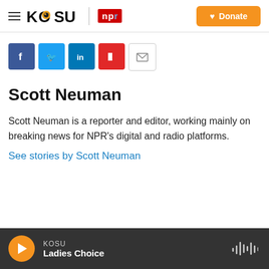KOSU | NPR — Donate
[Figure (other): Social sharing icons: Facebook, Twitter, LinkedIn, Flipboard, Email]
Scott Neuman
Scott Neuman is a reporter and editor, working mainly on breaking news for NPR's digital and radio platforms.
See stories by Scott Neuman
KOSU — Ladies Choice (player bar)